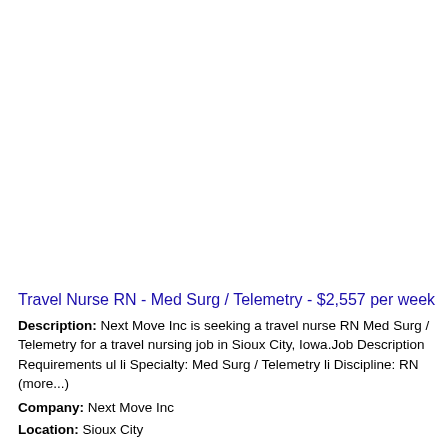Travel Nurse RN - Med Surg / Telemetry - $2,557 per week
Description: Next Move Inc is seeking a travel nurse RN Med Surg / Telemetry for a travel nursing job in Sioux City, Iowa.Job Description Requirements ul li Specialty: Med Surg / Telemetry li Discipline: RN (more...)
Company: Next Move Inc
Location: Sioux City